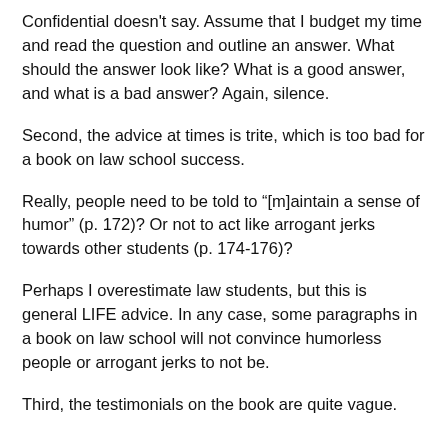Confidential doesn't say. Assume that I budget my time and read the question and outline an answer. What should the answer look like? What is a good answer, and what is a bad answer? Again, silence.
Second, the advice at times is trite, which is too bad for a book on law school success.
Really, people need to be told to “[m]aintain a sense of humor” (p. 172)? Or not to act like arrogant jerks towards other students (p. 174-176)?
Perhaps I overestimate law students, but this is general LIFE advice. In any case, some paragraphs in a book on law school will not convince humorless people or arrogant jerks to not be.
Third, the testimonials on the book are quite vague.